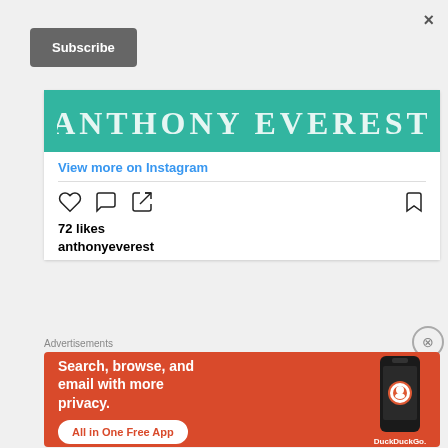×
Subscribe
[Figure (screenshot): Teal banner with text ANTHONY EVEREST in white serif letters]
View more on Instagram
[Figure (illustration): Instagram action icons: heart, comment bubble, share arrow, and bookmark]
72 likes
anthonyeverest
Advertisements
[Figure (screenshot): DuckDuckGo advertisement: orange background, text reads 'Search, browse, and email with more privacy. All in One Free App' with a phone showing DuckDuckGo logo]